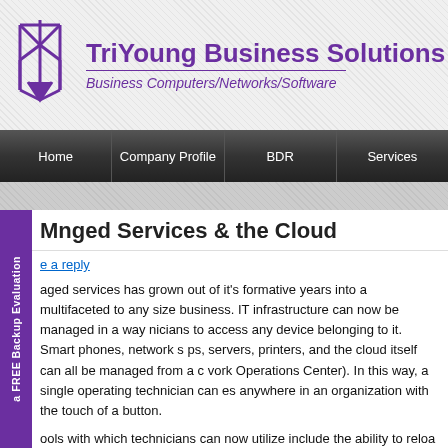[Figure (logo): TriYoung Business Solutions logo with purple geometric crystal/arrow mark on left and company name/tagline on right]
TriYoung Business Solutions - Business Computers/Networks/Software
Home | Company Profile | BDR | Services
Managed Services & the Cloud
e a reply
aged services has grown out of it's formative years into a multifaceted to any size business. IT infrastructure can now be managed in a way nicians to access any device belonging to it. Smart phones, network s ps, servers, printers, and the cloud itself can all be managed from a c vork Operations Center). In this way, a single operating technician can es anywhere in an organization with the touch of a button.
ools with which technicians can now utilize include the ability to reloa ms, upgrade firmware & software, reset devices, lock down devices